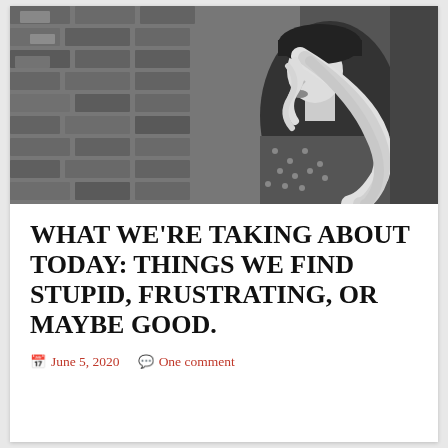[Figure (photo): Black and white photograph of a blonde woman with long curly hair wearing a black beret and a polka-dot top, posed in profile against a brick wall background.]
WHAT WE'RE TAKING ABOUT TODAY: THINGS WE FIND STUPID, FRUSTRATING, OR MAYBE GOOD.
June 5, 2020    One comment